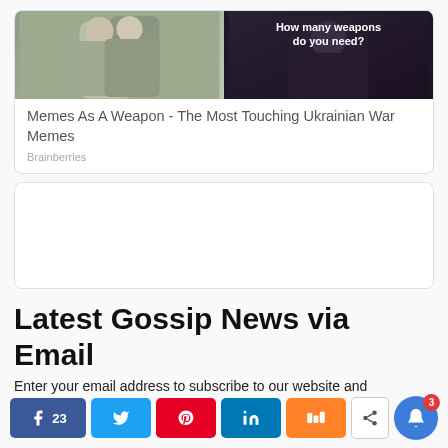[Figure (screenshot): Card with two images side by side: left shows people embracing (grey/green tones), right shows a man in suit with text 'How many weapons do you need?']
Memes As A Weapon - The Most Touching Ukrainian War Memes
Brainberries
[Figure (other): Empty advertisement box]
Latest Gossip News via Email
Enter your email address to subscribe to our website and
[Figure (infographic): Social share buttons: Facebook (23), Twitter, Pinterest, LinkedIn, Mix, Share icon, and notification bell button with badge 3]